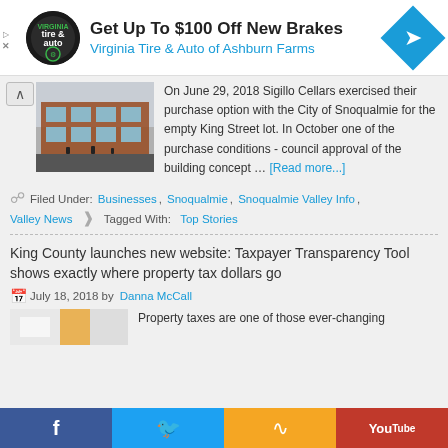[Figure (advertisement): Ad banner for Virginia Tire & Auto of Ashburn Farms offering Get Up To $100 Off New Brakes, with circular logo on left and blue diamond navigation icon on right]
On June 29, 2018 Sigillo Cellars exercised their purchase option with the City of Snoqualmie for the empty King Street lot. In October one of the purchase conditions - council approval of the building concept … [Read more...]
Filed Under: Businesses, Snoqualmie, Snoqualmie Valley Info, Valley News  Tagged With: Top Stories
King County launches new website: Taxpayer Transparency Tool shows exactly where property tax dollars go
July 18, 2018 by Danna McCall
Property taxes are one of those ever-changing